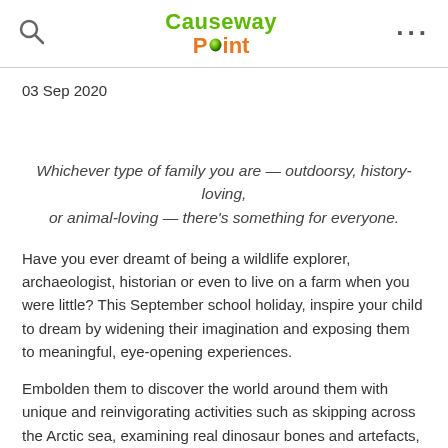Causeway Point
03 Sep 2020
Whichever type of family you are — outdoorsy, history-loving, or animal-loving — there's something for everyone.
Have you ever dreamt of being a wildlife explorer, archaeologist, historian or even to live on a farm when you were little? This September school holiday, inspire your child to dream by widening their imagination and exposing them to meaningful, eye-opening experiences.
Embolden them to discover the world around them with unique and reinvigorating activities such as skipping across the Arctic sea, examining real dinosaur bones and artefacts, or learning